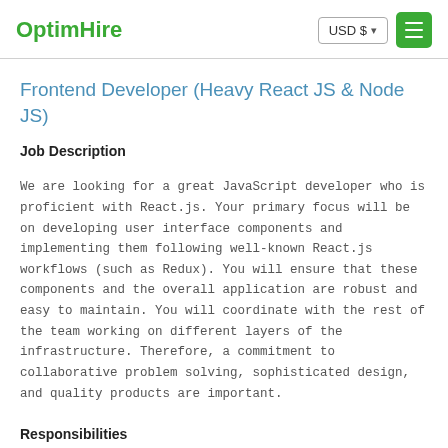OptimHire
Frontend Developer (Heavy React JS & Node JS)
Job Description
We are looking for a great JavaScript developer who is proficient with React.js. Your primary focus will be on developing user interface components and implementing them following well-known React.js workflows (such as Redux). You will ensure that these components and the overall application are robust and easy to maintain. You will coordinate with the rest of the team working on different layers of the infrastructure. Therefore, a commitment to collaborative problem solving, sophisticated design, and quality products are important.
Responsibilities